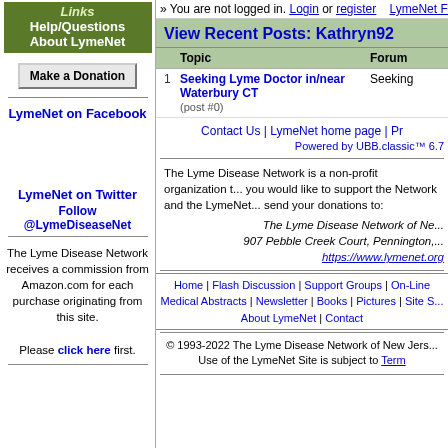[Figure (illustration): Navigation image with green background showing Links, Help/Questions, About LymeNet text]
Make a Donation (button)
LymeNet on Facebook
LymeNet on Twitter
Follow @LymeDiseaseNet
The Lyme Disease Network receives a commission from Amazon.com for each purchase originating from this site. Please click here first.
» You are not logged in. Login or register   LymeNet Flash
View Recent Posts: Kathryn92
| Topic | Forum |
| --- | --- |
| Seeking Lyme Doctor in/near Waterbury CT (post #0) | Seeking |
Contact Us | LymeNet home page | Pr
Powered by UBB.classic™ 6.7
The Lyme Disease Network is a non-profit organization t... you would like to support the Network and the LymeNet... send your donations to:
The Lyme Disease Network of Ne... 907 Pebble Creek Court, Pennington,... https://www.lymenet.org
Home | Flash Discussion | Support Groups | On-Line Medical Abstracts | Newsletter | Books | Pictures | Site S... About LymeNet | Contact
© 1993-2022 The Lyme Disease Network of New Jers... Use of the LymeNet Site is subject to Term